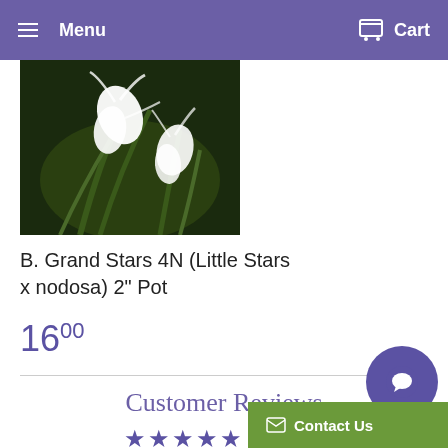Menu   Cart
[Figure (photo): White orchid flowers (B. Grand Stars 4N) with long narrow green leaves against a dark background]
B. Grand Stars 4N (Little Stars x nodosa) 2" Pot
16 00
Customer Reviews
★★★★★ Based on 1
Write a review >
Contact Us